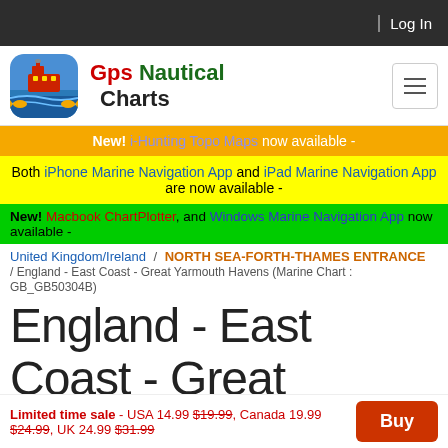Log In
[Figure (logo): GPS Nautical Charts app logo with ship icon]
Gps Nautical Charts
New! i-Hunting Topo Maps now available -
Both iPhone Marine Navigation App and iPad Marine Navigation App are now available -
New! Macbook ChartPlotter, and Windows Marine Navigation App now available -
United Kingdom/Ireland / NORTH SEA-FORTH-THAMES ENTRANCE / England - East Coast - Great Yarmouth Havens (Marine Chart : GB_GB50304B)
England - East Coast - Great Yarmouth Havens (Marine Chart :
Limited time sale - USA 14.99 $19.99, Canada 19.99 $24.99, UK 24.99 $31.99